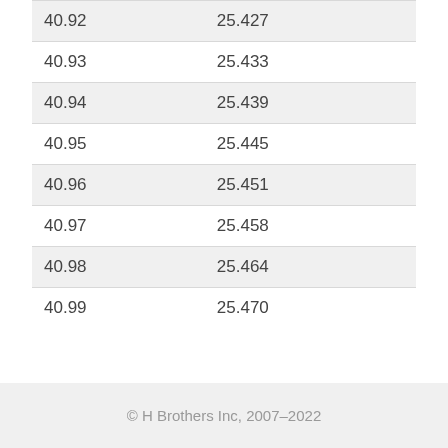| 40.92 | 25.427 |
| 40.93 | 25.433 |
| 40.94 | 25.439 |
| 40.95 | 25.445 |
| 40.96 | 25.451 |
| 40.97 | 25.458 |
| 40.98 | 25.464 |
| 40.99 | 25.470 |
© H Brothers Inc, 2007–2022